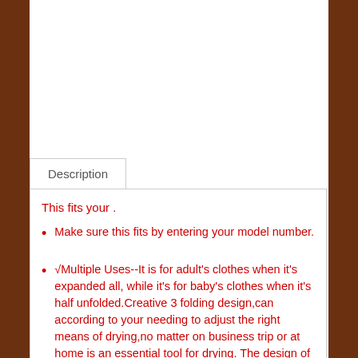Description
This fits your .
Make sure this fits by entering your model number.
√Multiple Uses--It is for adult's clothes when it's expanded all, while it's for baby's clothes when it's half unfolded.Creative 3 folding design,can according to your needing to adjust the right means of drying,no matter on business trip or at home is an essential tool for drying. The design of antiskid grooves to help clothes be held firmly.
√High quality--This folding hanger which is firmly fixed by screw at the turning point.Easy to expand for well hanging your